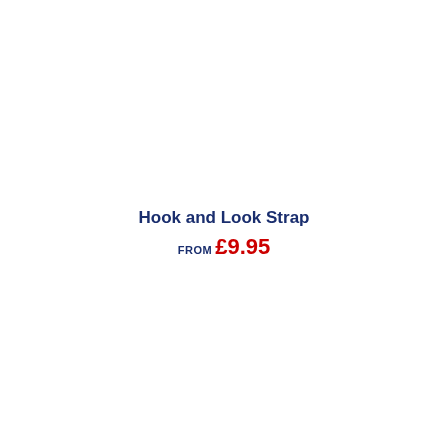Hook and Look Strap
FROM £9.95